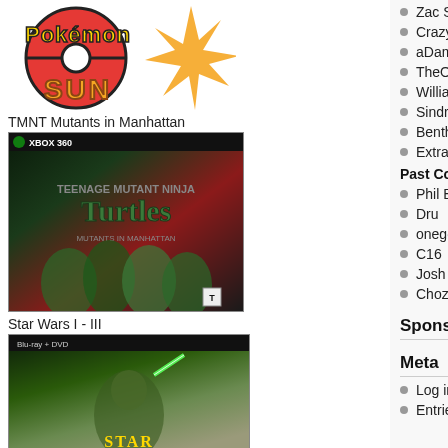[Figure (logo): Pokemon Sun logo with orange starburst]
TMNT Mutants in Manhattan
[Figure (photo): TMNT Mutants in Manhattan Xbox 360 game box art]
Star Wars I - III
[Figure (photo): Star Wars I-III Blu-ray/DVD box with Yoda holding green lightsaber]
Zac Shipley
Crazy
aDam
TheOrange
William Talley
Sindra
Bentheo
Extra Zero
Past Contributors
Phil Bond
Dru
onegoodlogan
C16
Josh
Chozoman
Sponsor
Meta
Log in
Entries RSS
games featured best ways to sa [Read the rest
Tags: Demo, G
No Comments
Halo Reach
by FakeTrout,
[Figure (photo): Halo Reach Xbox 360 game box art]
variety of weap you against wa
You can downl
If you like it, go managed to pu sale, but I've...